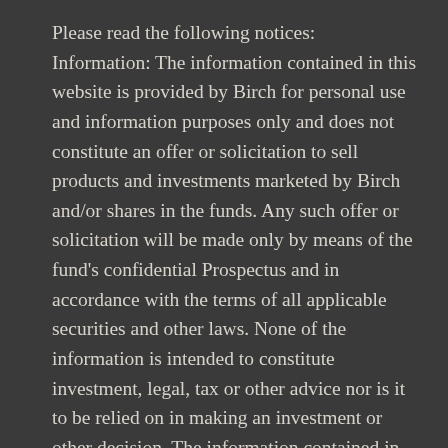Please read the following notices: Information: The information contained in this website is provided by Birch for personal use and information purposes only and does not constitute an offer or solicitation to sell products and investments marketed by Birch and/or shares in the funds. Any such offer or solicitation will be made only by means of the fund's confidential Prospectus and in accordance with the terms of all applicable securities and other laws. None of the information is intended to constitute investment, legal, tax or other advice nor is it to be relied on in making an investment or other decision. The information contained in this website is provided in good faith but is given with no representation or warranty of any kind, either expressed or implied, with regard to its accuracy. The information contained in this website is subject to change without notice. Professional Advice: You should obtain relevant and specific professional advice before making any investment decision. All investments involve a degree of risk. You should be aware that past performance is not necessarily a guide to future